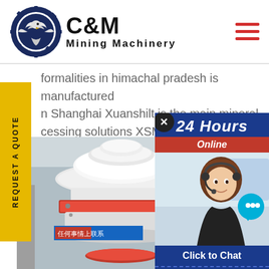[Figure (logo): C&M Mining Machinery logo with eagle/gear emblem in dark blue circle and bold text]
formalities in himachal pradesh is manufactured n Shanghai Xuanshilt is the main mineral cessing solutions XSM Stone Crushing Plants Nee g
REQUEST A QUOTE
[Figure (photo): Industrial cone crusher machine in a factory setting with a blue banner in Chinese characters]
[Figure (photo): 24 Hours Online customer support chat popup showing a smiling female agent wearing a headset with Click to Chat and Enquiry buttons]